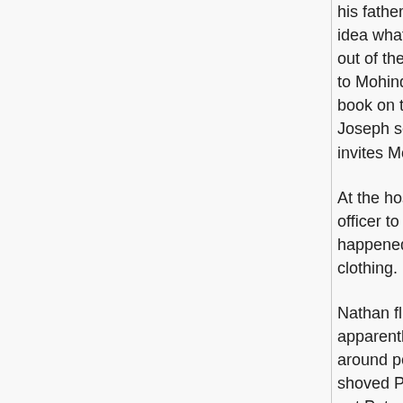his father's theory, but Joseph claims that he has no idea what Mohinder is talking about. Samuel comes out of the trailer, clearly drunk, and introduces himself to Mohinder. Joseph claims that Mohinder is writing a book on traveling carnies and Mohinder plays along. Joseph sends Samuel to help the others and then invites Mohinder inside.
At the hospital, Matt telepathically forces a police officer to take him to a closet and then forget what happened. He then has the officer remove all his clothing.
Nathan flies to the Grand Canyon and Nathan, apparently himself, says that he doesn't want to be around people right now. Nathan admits that he shoved Peter into a wall and is worried that he could get Peter killed if Sylar is in his head. Peter grabs him, replicates his